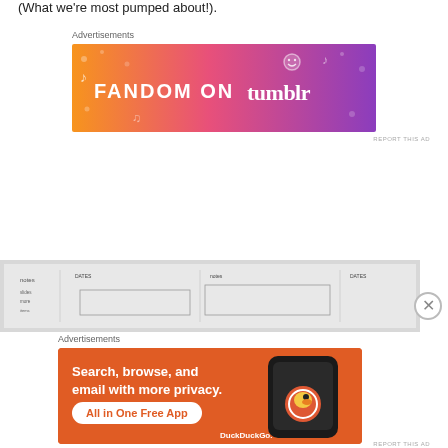(What we're most pumped about!).
Advertisements
[Figure (other): Fandom on Tumblr advertisement banner with colorful orange-to-purple gradient background and decorative doodles]
[Figure (photo): Whiteboard with handwritten notes and diagrams]
Advertisements
[Figure (other): DuckDuckGo advertisement: Search, browse, and email with more privacy. All in One Free App. Shows DuckDuckGo logo on orange background with phone mockup.]